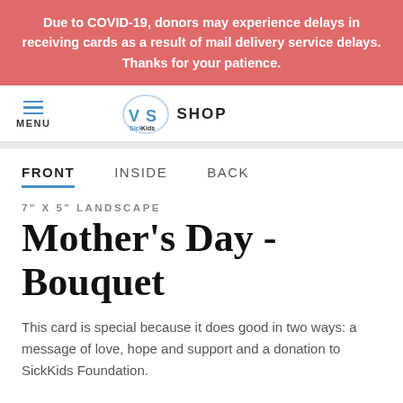Due to COVID-19, donors may experience delays in receiving cards as a result of mail delivery service delays. Thanks for your patience.
[Figure (logo): SickKids VS logo with hamburger menu icon and MENU label on left, SickKids VS logo in center, SHOP text on right]
FRONT   INSIDE   BACK
7" X 5" LANDSCAPE
Mother's Day - Bouquet
This card is special because it does good in two ways: a message of love, hope and support and a donation to SickKids Foundation.